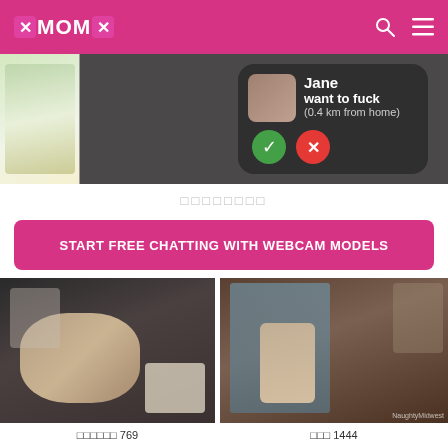XMOMX
[Figure (screenshot): Adult dating app advertisement showing notification with name Jane, text 'want to fuck (0.4 km from home)', with green checkmark and red X buttons]
□□□□□□□□
START FREE CHATTING WITH WEBCAM MODELS
[Figure (photo): Video thumbnail - woman's face being touched]
□□□□□□ 769
[Figure (photo): Video thumbnail - two people near a door, watermark NaughtyMidwest]
□□□ 1444
[Figure (photo): Video thumbnail partial - bottom row left]
[Figure (photo): Video thumbnail partial - bottom row right]